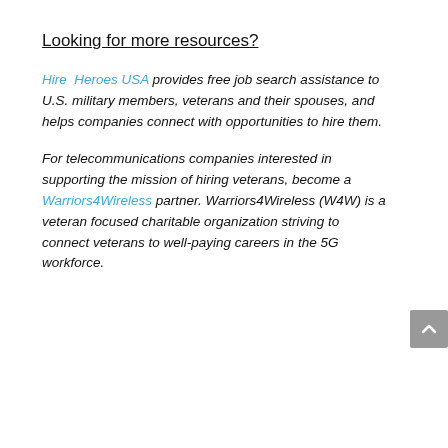Looking for more resources?
Hire Heroes USA provides free job search assistance to U.S. military members, veterans and their spouses, and helps companies connect with opportunities to hire them.
For telecommunications companies interested in supporting the mission of hiring veterans, become a Warriors4Wireless partner. Warriors4Wireless (W4W) is a veteran focused charitable organization striving to connect veterans to well-paying careers in the 5G workforce.